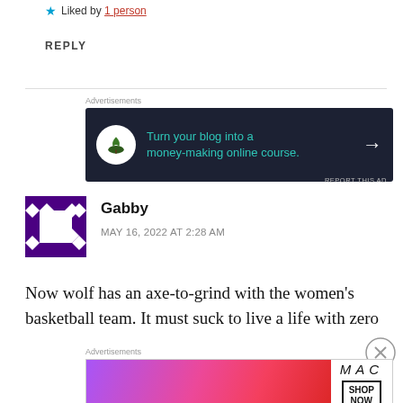★ Liked by 1 person
REPLY
[Figure (other): Dark advertisement banner: bonsai tree icon in white circle, teal text 'Turn your blog into a money-making online course.' with white arrow]
REPORT THIS AD
Gabby
MAY 16, 2022 AT 2:28 AM
Now wolf has an axe-to-grind with the women's basketball team. It must suck to live a life with zero
[Figure (other): MAC cosmetics advertisement banner showing lipsticks in purple, pink, and red with MAC logo and SHOP NOW button]
REPORT THIS AD